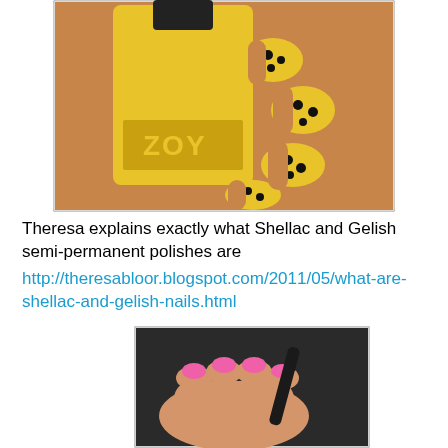[Figure (photo): A yellow Zoya nail polish bottle held alongside a hand with yellow nails decorated with black floral/star patterns.]
Theresa explains exactly what Shellac and Gelish semi-permanent polishes are
http://theresabloor.blogspot.com/2011/05/what-are-shellac-and-gelish-nails.html
[Figure (photo): A hand with pink nail polish holding a dark object, shown against a dark background.]